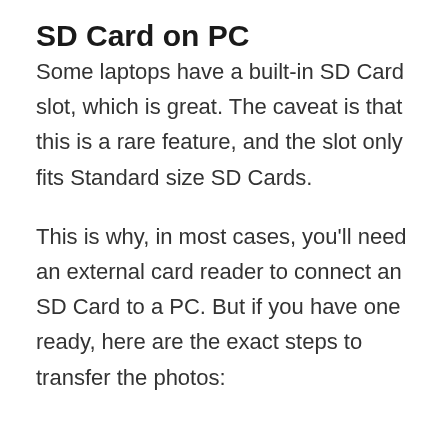SD Card on PC
Some laptops have a built-in SD Card slot, which is great. The caveat is that this is a rare feature, and the slot only fits Standard size SD Cards.
This is why, in most cases, you'll need an external card reader to connect an SD Card to a PC. But if you have one ready, here are the exact steps to transfer the photos: